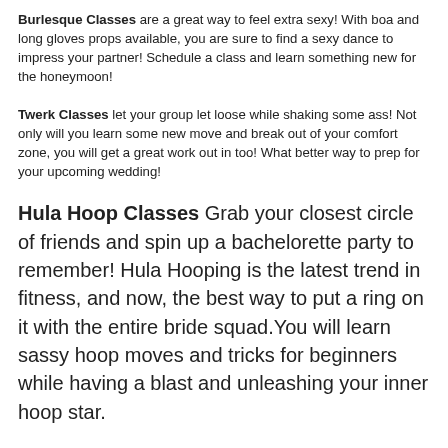Burlesque Classes are a great way to feel extra sexy! With boa and long gloves props available, you are sure to find a sexy dance to impress your partner! Schedule a class and learn something new for the honeymoon!
Twerk Classes let your group let loose while shaking some ass! Not only will you learn some new move and break out of your comfort zone, you will get a great work out in too! What better way to prep for your upcoming wedding!
Hula Hoop Classes Grab your closest circle of friends and spin up a bachelorette party to remember! Hula Hooping is the latest trend in fitness, and now, the best way to put a ring on it with the entire bride squad.You will learn sassy hoop moves and tricks for beginners while having a blast and unleashing your inner hoop star.